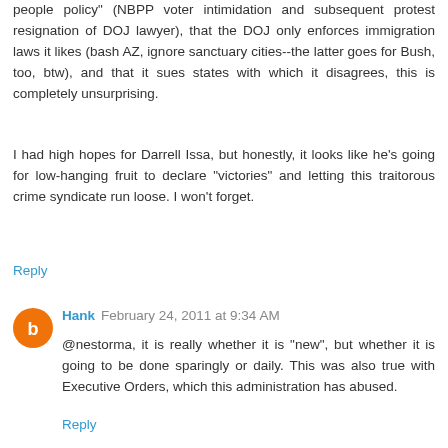people policy" (NBPP voter intimidation and subsequent protest resignation of DOJ lawyer), that the DOJ only enforces immigration laws it likes (bash AZ, ignore sanctuary cities--the latter goes for Bush, too, btw), and that it sues states with which it disagrees, this is completely unsurprising.
I had high hopes for Darrell Issa, but honestly, it looks like he's going for low-hanging fruit to declare "victories" and letting this traitorous crime syndicate run loose. I won't forget.
Reply
Hank  February 24, 2011 at 9:34 AM
@nestorma, it is really whether it is "new", but whether it is going to be done sparingly or daily. This was also true with Executive Orders, which this administration has abused.
Reply